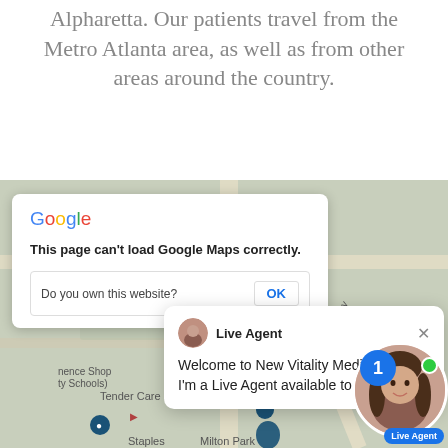We're conveniently located just off 400 in Alpharetta. Our patients travel from the Metro Atlanta area, as well as from other areas around the country.
[Figure (screenshot): Screenshot of a webpage showing a Google Maps embed with an error dialog ('This page can't load Google Maps correctly. Do you own this website? OK') and a Live Agent chat popup saying 'Welcome to New Vitality Medical, LLC. I'm a Live Agent available to help.' overlaid on a greyed-out map showing Tender Care Pediatrics, Staples, and North Point Pkwy in Alpharetta, GA.]